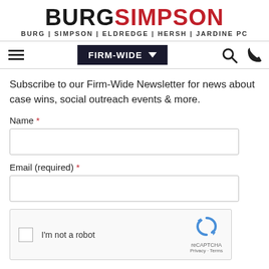BURG SIMPSON — BURG | SIMPSON | ELDREDGE | HERSH | JARDINE PC
[Figure (screenshot): Navigation bar with hamburger menu, FIRM-WIDE dropdown, search icon, and phone icon]
Subscribe to our Firm-Wide Newsletter for news about case wins, social outreach events & more.
Name *
Email (required) *
[Figure (screenshot): reCAPTCHA widget with checkbox labeled I'm not a robot and reCAPTCHA logo with Privacy and Terms links]